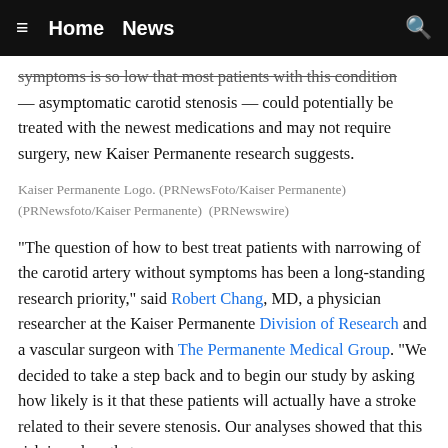≡  Home  News  🔍
symptoms is so low that most patients with this condition — asymptomatic carotid stenosis — could potentially be treated with the newest medications and may not require surgery, new Kaiser Permanente research suggests.
Kaiser Permanente Logo. (PRNewsFoto/Kaiser Permanente) (PRNewsfoto/Kaiser Permanente)  (PRNewswire)
"The question of how to best treat patients with narrowing of the carotid artery without symptoms has been a long-standing research priority," said Robert Chang, MD, a physician researcher at the Kaiser Permanente Division of Research and a vascular surgeon with The Permanente Medical Group. "We decided to take a step back and to begin our study by asking how likely is it that these patients will actually have a stroke related to their severe stenosis. Our analyses showed that this risk is so low that